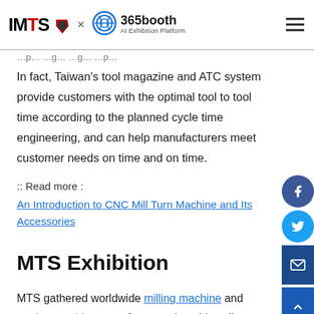[Figure (logo): IMTS x 365booth AI Exhibition Platform logo with hamburger menu icon]
In fact, Taiwan's tool magazine and ATC system provide customers with the optimal tool to tool time according to the planned cycle time engineering, and can help manufacturers meet customer needs on time and on time.
:: Read more :
An Introduction to CNC Mill Turn Machine and Its Accessories
MTS Exhibition
MTS gathered worldwide milling machine and turning machine manufacturers into this online platform: